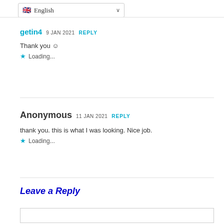[Figure (screenshot): Language selector dropdown showing UK flag and 'English' with chevron]
getin4  9 JAN 2021  REPLY
Thank you ☺
Loading...
Anonymous  11 JAN 2021  REPLY
thank you. this is what I was looking. Nice job.
Loading...
Leave a Reply